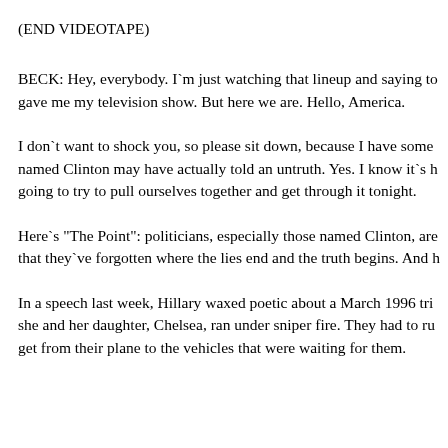(END VIDEOTAPE)
BECK: Hey, everybody. I`m just watching that lineup and saying to gave me my television show. But here we are. Hello, America.
I don`t want to shock you, so please sit down, because I have some named Clinton may have actually told an untruth. Yes. I know it`s h going to try to pull ourselves together and get through it tonight.
Here`s "The Point": politicians, especially those named Clinton, are that they`ve forgotten where the lies end and the truth begins. And h
In a speech last week, Hillary waxed poetic about a March 1996 tri she and her daughter, Chelsea, ran under sniper fire. They had to ru get from their plane to the vehicles that were waiting for them.